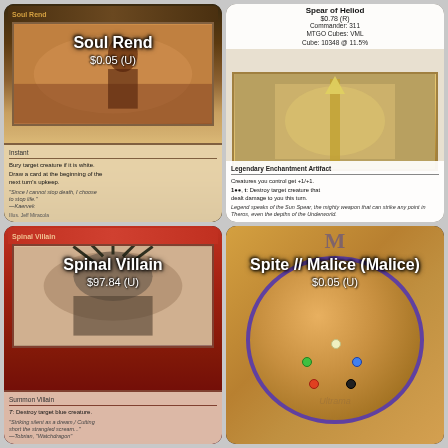[Figure (photo): Magic: The Gathering card - Soul Rend, priced $0.05 (U), black instant card artwork showing a figure]
Soul Rend
$0.05 (U)
[Figure (photo): Magic: The Gathering card - Spear of Heliod, priced $0.78 (R), Legendary Enchantment Artifact, Commander: 311, MTGO Cubes: VML, Cube: 10348 @ 11.5%]
Spear of Heliod
$0.78 (R)
Commander: 311
MTGO Cubes: VML
Cube: 10348 @ 11.5%
[Figure (photo): Magic: The Gathering card - Spinal Villain, priced $97.84 (U), red Summon Villain card]
Spinal Villain
$97.84 (U)
[Figure (photo): Magic: The Gathering card - Spite // Malice (Malice), priced $0.05 (U), multicolor card showing circular artwork with colored gems]
Spite // Malice (Malice)
$0.05 (U)